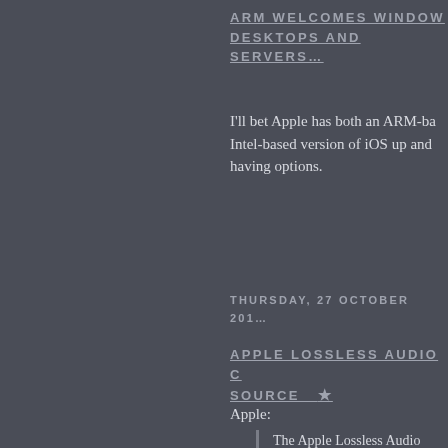ARM WELCOMES WINDOWS ON DESKTOPS AND SERVERS...
I'll bet Apple has both an ARM-based and Intel-based version of iOS up and running. having options.
THURSDAY, 27 OCTOBER 201...
APPLE LOSSLESS AUDIO C... SOURCE ★
Apple:
The Apple Lossless Audio Code... the ALAC encoder and decode... command line utility, called al... audio data to/from Core Audio...